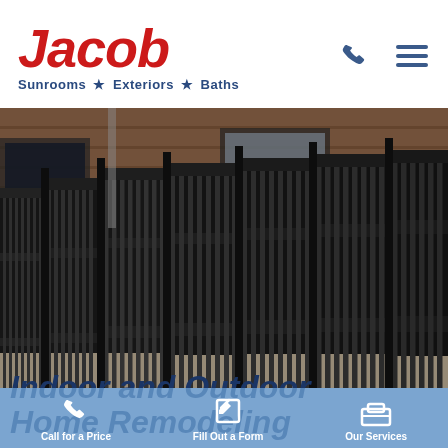[Figure (logo): Jacob Sunrooms Exteriors Baths logo in red italic bold font with blue subtitle]
[Figure (photo): Photo of a black aluminum fence with vertical pickets in front of a commercial building with wood cladding]
Indoor and Outdoor Home Remodeling
[Figure (infographic): Bottom bar with three CTA icons: phone (Call for a Price), pencil/form (Fill Out a Form), briefcase (Our Services)]